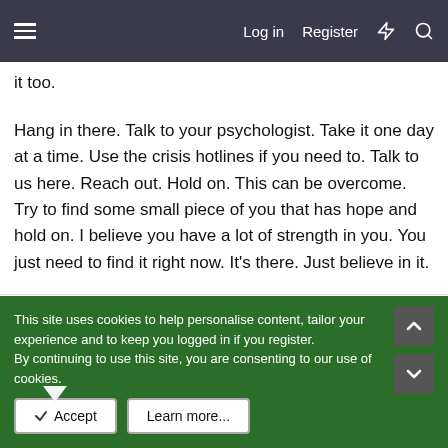Log in  Register
it too.
Hang in there. Talk to your psychologist. Take it one day at a time. Use the crisis hotlines if you need to. Talk to us here. Reach out. Hold on. This can be overcome. Try to find some small piece of you that has hope and hold on. I believe you have a lot of strength in you. You just need to find it right now. It's there. Just believe in it.
Into The Light
MVP
This site uses cookies to help personalise content, tailor your experience and to keep you logged in if you register.
By continuing to use this site, you are consenting to our use of cookies.
✓ Accept  Learn more...